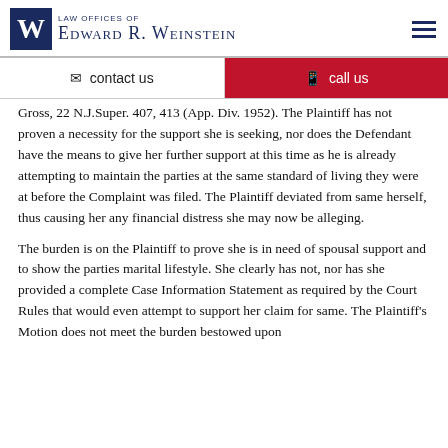Law Offices of Edward R. Weinstein
contact us
call us
Gross, 22 N.J.Super. 407, 413 (App. Div. 1952). The Plaintiff has not proven a necessity for the support she is seeking, nor does the Defendant have the means to give her further support at this time as he is already attempting to maintain the parties at the same standard of living they were at before the Complaint was filed. The Plaintiff deviated from same herself, thus causing her any financial distress she may now be alleging.
The burden is on the Plaintiff to prove she is in need of spousal support and to show the parties marital lifestyle. She clearly has not, nor has she provided a complete Case Information Statement as required by the Court Rules that would even attempt to support her claim for same. The Plaintiff's Motion does not meet the burden bestowed upon